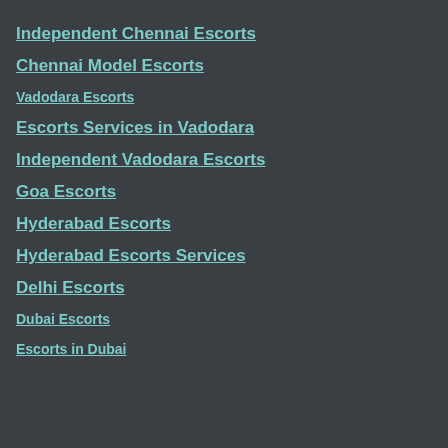Independent Chennai Escorts
Chennai Model Escorts
Vadodara Escorts
Escorts Services in Vadodara
Independent Vadodara Escorts
Goa Escorts
Hyderabad Escorts
Hyderabad Escorts Services
Delhi Escorts
Dubai Escorts
Escorts in Dubai